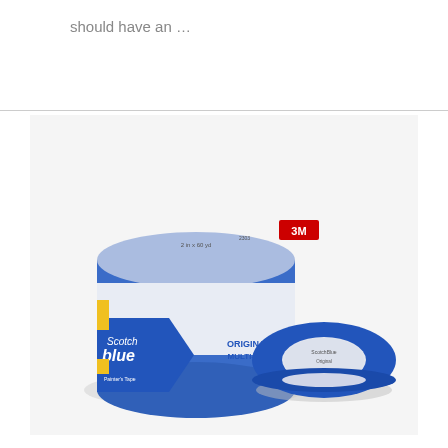should have an …
[Figure (photo): Two rolls of 3M ScotchBlue Original Multi-Use painter's tape. One large roll is standing upright showing the blue and white labeled packaging with 'Scotch Blue Original Multi-Use' branding. A smaller thinner roll of blue tape lies flat to the right of the larger roll.]